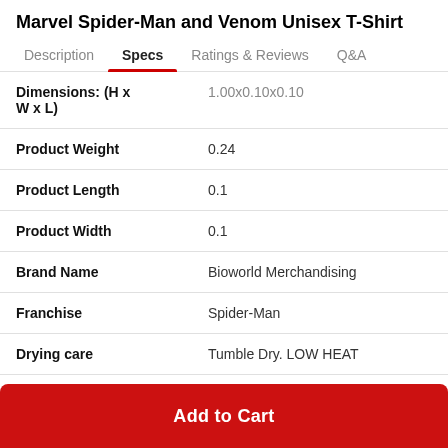Marvel Spider-Man and Venom Unisex T-Shirt
| Tab |  |
| --- | --- |
| Description |  |
| Specs |  |
| Ratings & Reviews |  |
| Q&A |  |
| Attribute | Value |
| --- | --- |
| Dimensions: (H x W x L) | 1.00x0.10x0.10 |
| Product Weight | 0.24 |
| Product Length | 0.1 |
| Product Width | 0.1 |
| Brand Name | Bioworld Merchandising |
| Franchise | Spider-Man |
| Drying care | Tumble Dry. LOW HEAT |
Add to Cart